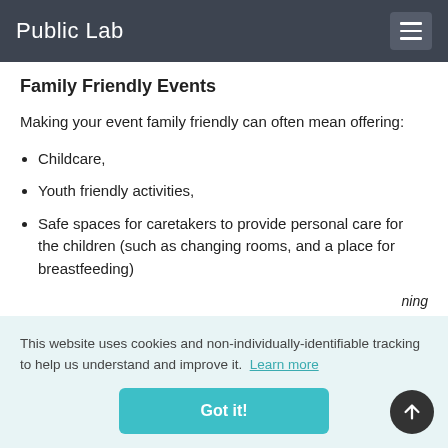Public Lab
Family Friendly Events
Making your event family friendly can often mean offering:
Childcare,
Youth friendly activities,
Safe spaces for caretakers to provide personal care for the children (such as changing rooms, and a place for breastfeeding)
This website uses cookies and non-individually-identifiable tracking to help us understand and improve it.  Learn more
Got it!